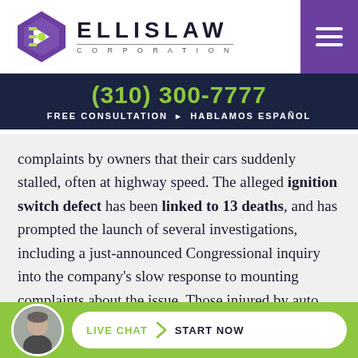[Figure (logo): Ellis Law Corporation logo with purple diamond/arrow mark and company name]
(310) 300-7777
FREE CONSULTATION • HABLAMOS ESPAÑOL
complaints by owners that their cars suddenly stalled, often at highway speed. The alleged ignition switch defect has been linked to 13 deaths, and has prompted the launch of several investigations, including a just-announced Congressional inquiry into the company's slow response to mounting complaints about the issue. Those injured by auto defects such as those at the cont...
[Figure (photo): Circular avatar photo of a man in a suit, used as attorney profile image in the live chat bar]
LIVE CHAT › START NOW